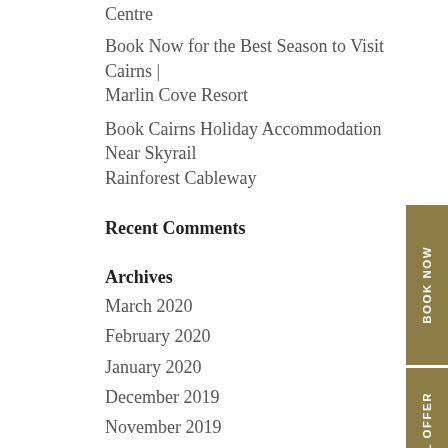Centre
Book Now for the Best Season to Visit Cairns | Marlin Cove Resort
Book Cairns Holiday Accommodation Near Skyrail Rainforest Cableway
Recent Comments
Archives
March 2020
February 2020
January 2020
December 2019
November 2019